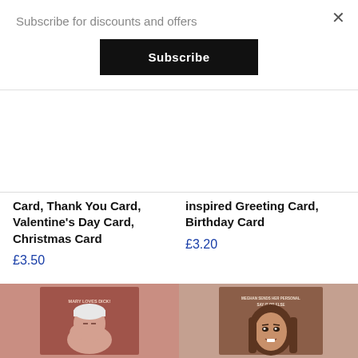Subscribe for discounts and offers
Subscribe
Card, Thank You Card, Valentine's Day Card, Christmas Card
£3.50
inspired Greeting Card, Birthday Card
£3.20
[Figure (illustration): Greeting card illustration showing an elderly man with white hair on a mauve/pink background with text MARY LOVES DICK!]
[Figure (illustration): Greeting card illustration showing a woman with long brown hair on a coral/brown background with text MEGHAN SENDS HER PERSONAL SAY IT OR ELSE]